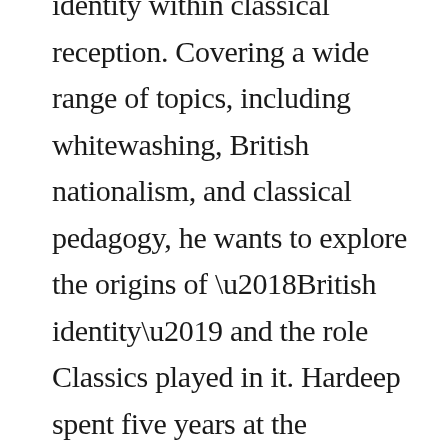identity within classical reception. Covering a wide range of topics, including whitewashing, British nationalism, and classical pedagogy, he wants to explore the origins of ‘British identity’ and the role Classics played in it. Hardeep spent five years at the University of Edinburgh, studying an MA (Hons) in History of Art and an MSc in Classical Art and Archaeology, and this September he will begin a PhD in Classics Research at King’s